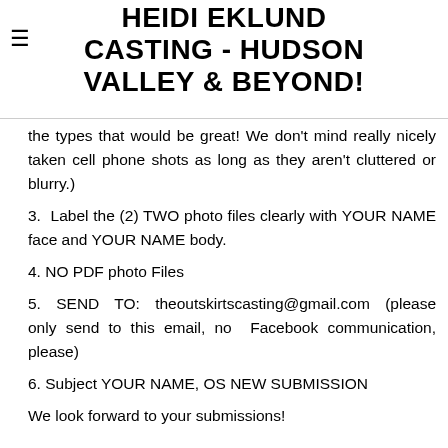HEIDI EKLUND CASTING - HUDSON VALLEY & BEYOND!
the types that would be great! We don't mind really nicely taken cell phone shots as long as they aren't cluttered or blurry.)
3. Label the (2) TWO photo files clearly with YOUR NAME face and YOUR NAME body.
4. NO PDF photo Files
5. SEND TO: theoutskirtscasting@gmail.com (please only send to this email, no Facebook communication, please)
6. Subject YOUR NAME, OS NEW SUBMISSION
We look forward to your submissions!